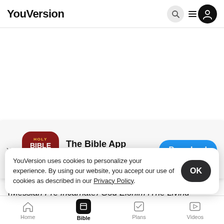YouVersion
GENESIS 3
[Figure (screenshot): App Store banner for The Bible App with Holy Bible icon, 5-star rating 7.9M reviews, and Download button]
ow the serpent was more subtle than a
beast o
(Messiah Pre Incarnate) God Elohim [The Living
YouVersion uses cookies to personalize your experience. By using our website, you accept our use of cookies as described in our Privacy Policy.
Home  Bible  Plans  Videos